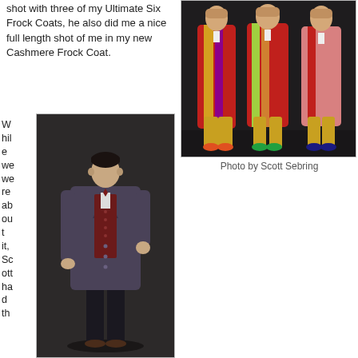shot with three of my Ultimate Six Frock Coats, he also did me a nice full length shot of me in my new Cashmere Frock Coat.
[Figure (photo): Full length photo of a man wearing a dark purple/grey cashmere frock coat with burgundy waistcoat and bow tie, standing against a dark background]
While we were about it, Scott had th
[Figure (photo): Group photo of three men wearing colorful Ultimate Six Frock Coats in red, yellow, green and pink colors, standing against a dark background]
Photo by Scott Sebring